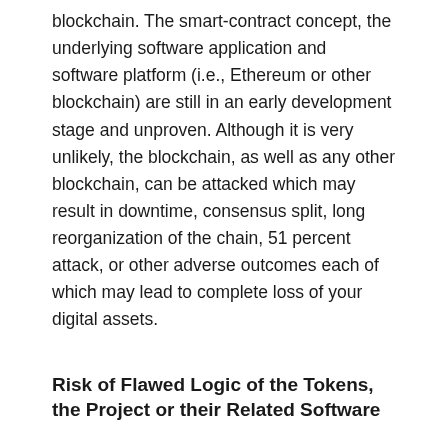blockchain. The smart-contract concept, the underlying software application and software platform (i.e., Ethereum or other blockchain) are still in an early development stage and unproven. Although it is very unlikely, the blockchain, as well as any other blockchain, can be attacked which may result in downtime, consensus split, long reorganization of the chain, 51 percent attack, or other adverse outcomes each of which may lead to complete loss of your digital assets.
Risk of Flawed Logic of the Tokens, the Project or their Related Software
The underlying logic of the Tokens, the Project and their related software may be flawed, defective or impaired, which can result in smart-contracts operating incorrectly or not as expected, or transactions being executed in violation of logic which underpins the smart-contracts, which can lead to partial or complete loss of digital assets used in the